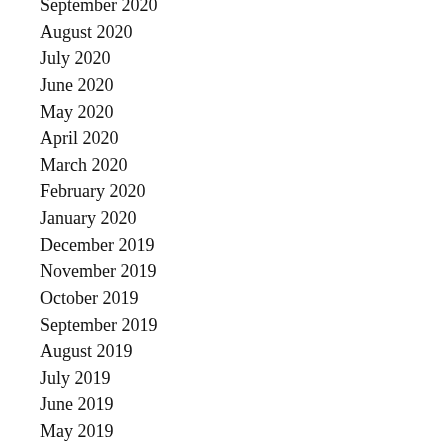September 2020
August 2020
July 2020
June 2020
May 2020
April 2020
March 2020
February 2020
January 2020
December 2019
November 2019
October 2019
September 2019
August 2019
July 2019
June 2019
May 2019
April 2019
March 2019